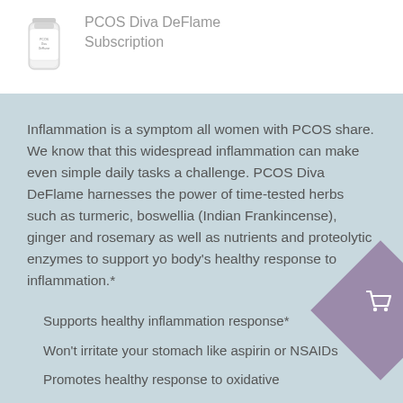[Figure (photo): Small product bottle image for PCOS Diva DeFlame supplement]
PCOS Diva DeFlame Subscription
Inflammation is a symptom all women with PCOS share. We know that this widespread inflammation can make even simple daily tasks a challenge. PCOS Diva DeFlame harnesses the power of time-tested herbs such as turmeric, boswellia (Indian Frankincense), ginger and rosemary as well as nutrients and proteolytic enzymes to support your body's healthy response to inflammation.*
Supports healthy inflammation response*
Won't irritate your stomach like aspirin or NSAIDs
Promotes healthy response to oxidative stress*